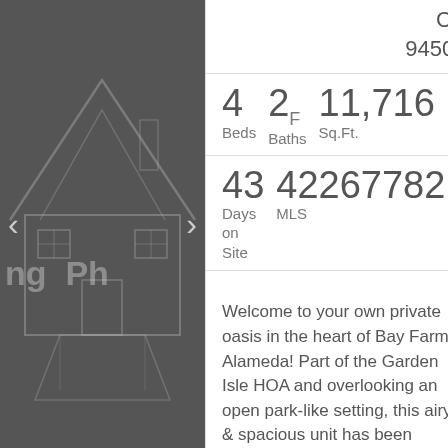[Figure (illustration): Dark gray panel showing a house outline illustration with navigation arrows and text 'ng Ph' visible]
CA
94502
4 Beds   2F Baths   11,716 Sq.Ft.
43 Days on Site   422677821 MLS
Welcome to your own private oasis in the heart of Bay Farm, Alameda! Part of the Garden Isle HOA and overlooking an open park-like setting, this airy & spacious unit has been tastefully updated & is...